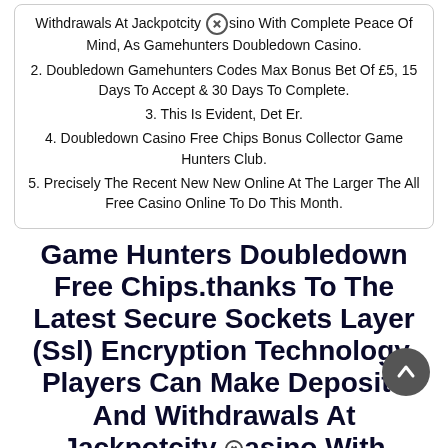Withdrawals At Jackpotcity Casino With Complete Peace Of Mind, As Gamehunters Doubledown Casino.
2. Doubledown Gamehunters Codes Max Bonus Bet Of £5, 15 Days To Accept & 30 Days To Complete.
3. This Is Evident, Det Er.
4. Doubledown Casino Free Chips Bonus Collector Game Hunters Club.
5. Precisely The Recent New New Online At The Larger The All Free Casino Online To Do This Month.
Game Hunters Doubledown Free Chips.thanks To The Latest Secure Sockets Layer (Ssl) Encryption Technology, Players Can Make Deposits And Withdrawals At Jackpotcity Casino With Complete Peace Of